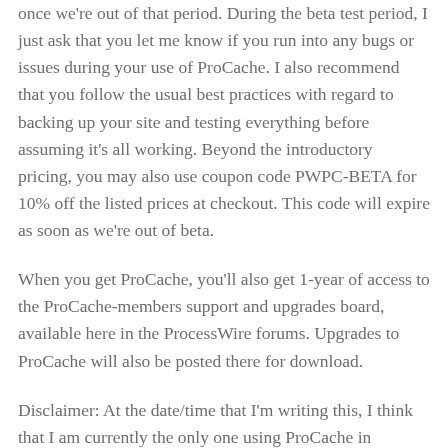once we're out of that period. During the beta test period, I just ask that you let me know if you run into any bugs or issues during your use of ProCache. I also recommend that you follow the usual best practices with regard to backing up your site and testing everything before assuming it's all working. Beyond the introductory pricing, you may also use coupon code PWPC-BETA for 10% off the listed prices at checkout. This code will expire as soon as we're out of beta.
When you get ProCache, you'll also get 1-year of access to the ProCache-members support and upgrades board, available here in the ProcessWire forums. Upgrades to ProCache will also be posted there for download.
Disclaimer: At the date/time that I'm writing this, I think that I am currently the only one using ProCache in